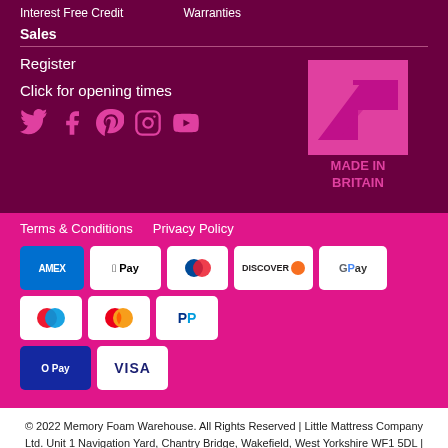Interest Free Credit    Warranties
Sales
Register
Click for opening times
[Figure (logo): Made in Britain logo — pink arrow pointing upper-right with MADE IN BRITAIN text below]
Terms & Conditions    Privacy Policy
[Figure (other): Payment method icons: American Express, Apple Pay, Diners Club, Discover, Google Pay, Maestro, Mastercard, PayPal, Samsung Pay, Visa]
© 2022 Memory Foam Warehouse. All Rights Reserved | Little Mattress Company Ltd. Unit 1 Navigation Yard, Chantry Bridge, Wakefield, West Yorkshire WF1 5DL | Company no: